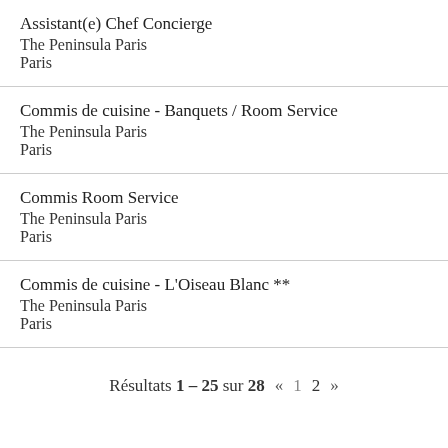Assistant(e) Chef Concierge
The Peninsula Paris
Paris
Commis de cuisine - Banquets / Room Service
The Peninsula Paris
Paris
Commis Room Service
The Peninsula Paris
Paris
Commis de cuisine - L'Oiseau Blanc **
The Peninsula Paris
Paris
Résultats 1 – 25 sur 28   «   1   2   »